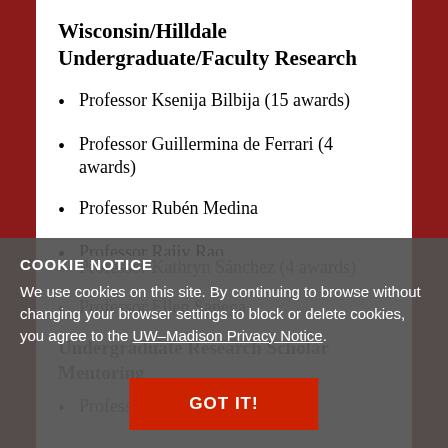Wisconsin/Hilldale Undergraduate/Faculty Research
Professor Ksenija Bilbija (15 awards)
Professor Guillermina de Ferrari (4 awards)
Professor Rubén Medina
Professor Rajiv Rao
Professor Kathryn Sánchez (4 awards)
Professor Ellen Sapega
Undergraduate Research Scholar Mentoring
Professor Rajiv Rao
COOKIE NOTICE
We use cookies on this site. By continuing to browse without changing your browser settings to block or delete cookies, you agree to the UW–Madison Privacy Notice.